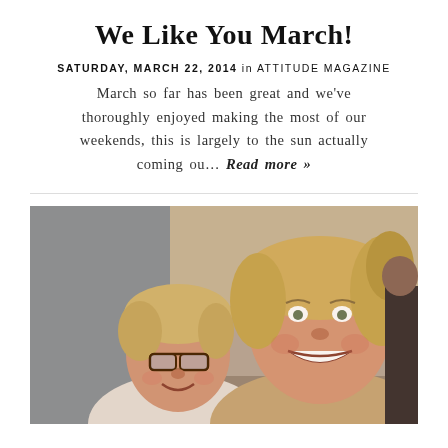We Like You March!
SATURDAY, MARCH 22, 2014 in ATTITUDE MAGAZINE
March so far has been great and we've thoroughly enjoyed making the most of our weekends, this is largely to the sun actually coming ou… Read more »
[Figure (photo): Two smiling blonde women posing closely together for a photo indoors]